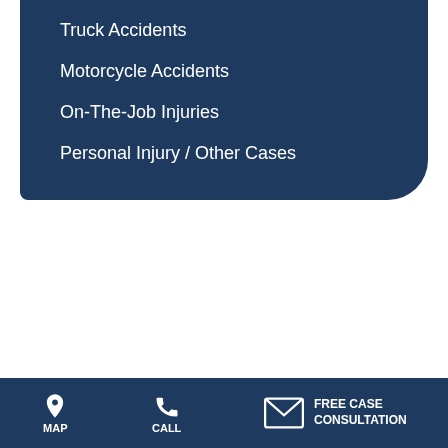Truck Accidents
Motorcycle Accidents
On-The-Job Injuries
Personal Injury / Other Cases
MAP   CALL   FREE CASE CONSULTATION